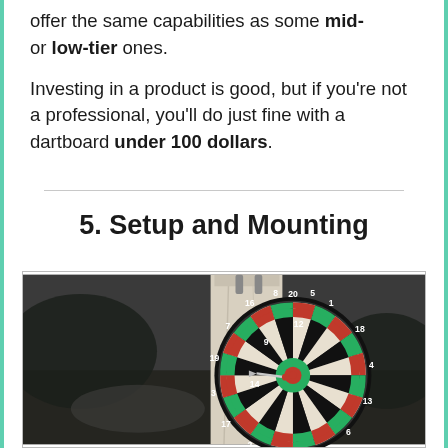offer the same capabilities as some mid- or low-tier ones. Investing in a product is good, but if you're not a professional, you'll do just fine with a dartboard under 100 dollars.
5. Setup and Mounting
[Figure (photo): Black and white photograph of a dartboard mounted on a white wooden post outdoors, with a red dart hitting near the bullseye. Numbers visible on the dartboard including 20, 1, 18, 4, 13, 6, 10, 16, 8, 11, 14, 9, 12, 5. Background shows blurred grass and trees.]